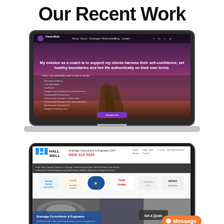Our Recent Work
[Figure (screenshot): Laptop mockup showing a life coaching website called 'Fierce Mind' with a dark purple/sunset pier background and text about supporting clients to harness self-confidence.]
[Figure (screenshot): Tablet mockup showing Hall Well Drainage Consultants & Engineers website with the slogan '24/7 0800 316 5945' and partner logos including British Water, CHAS, City & Guilds, Constructionline, NRSWA.]